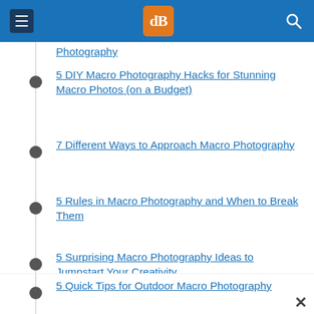dPS navigation header with menu, logo, and search
Photography
5 DIY Macro Photography Hacks for Stunning Macro Photos (on a Budget)
7 Different Ways to Approach Macro Photography
5 Rules in Macro Photography and When to Break Them
5 Surprising Macro Photography Ideas to Jumpstart Your Creativity
5 Quick Tips for Outdoor Macro Photography